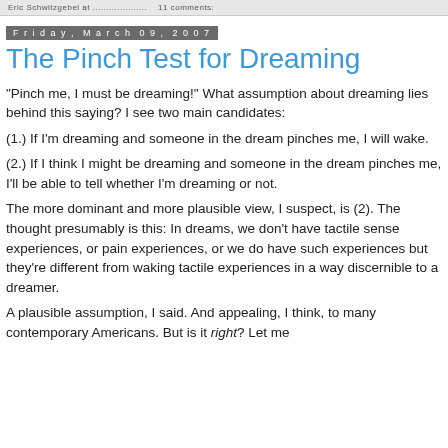Eric Schwitzgebel at .................... 11 comments:
Friday, March 09, 2007
The Pinch Test for Dreaming
"Pinch me, I must be dreaming!" What assumption about dreaming lies behind this saying? I see two main candidates:
(1.) If I'm dreaming and someone in the dream pinches me, I will wake.
(2.) If I think I might be dreaming and someone in the dream pinches me, I'll be able to tell whether I'm dreaming or not.
The more dominant and more plausible view, I suspect, is (2). The thought presumably is this: In dreams, we don't have tactile sense experiences, or pain experiences, or we do have such experiences but they're different from waking tactile experiences in a way discernible to a dreamer.
A plausible assumption, I said. And appealing, I think, to many contemporary Americans. But is it right? Let me